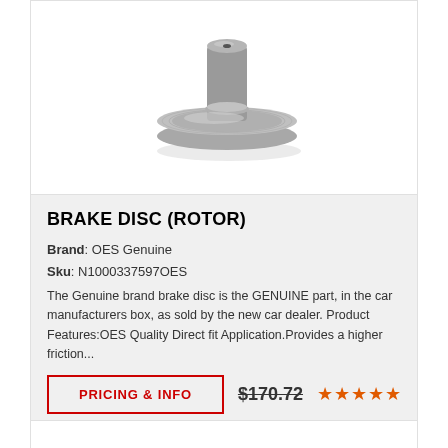[Figure (photo): Brake disc (rotor) product photo showing a metallic silver brake rotor with center hub, viewed from a slight angle]
BRAKE DISC (ROTOR)
Brand: OES Genuine
Sku: N1000337597OES
The Genuine brand brake disc is the GENUINE part, in the car manufacturers box, as sold by the new car dealer. Product Features:OES Quality Direct fit Application.Provides a higher friction...
PRICING & INFO  $170.72  ★★★★★